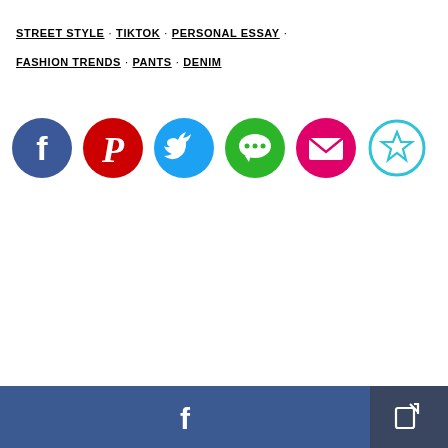STREET STYLE · TIKTOK · PERSONAL ESSAY · FASHION TRENDS · PANTS · DENIM
[Figure (infographic): Row of six social media sharing icons: Facebook (blue circle with f), Pinterest (red circle with P), Twitter (blue circle with bird), Messages/Chat (green circle with speech bubble), Email (pink circle with envelope), Save/Bookmark (white circle with star outline in teal border)]
[Figure (infographic): Bottom bar with Facebook share button (dark blue, wide) and a share/export icon button (dark navy, narrow)]